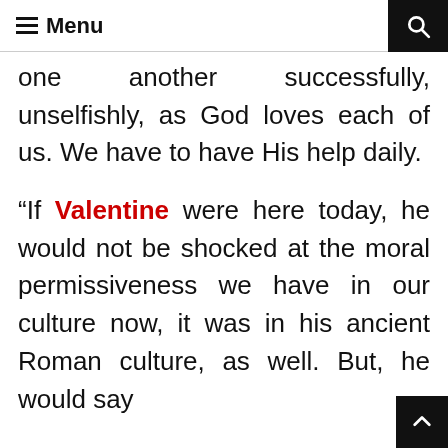≡ Menu
one another successfully, unselfishly, as God loves each of us. We have to have His help daily.
“If Valentine were here today, he would not be shocked at the moral permissiveness we have in our culture now, it was in his ancient Roman culture, as well. But, he would say married couples that there comes a time